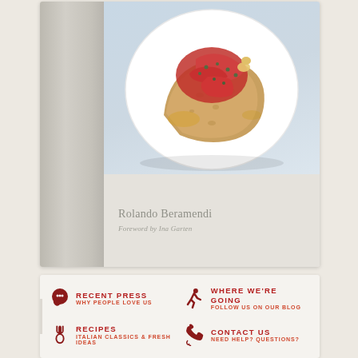[Figure (photo): Book cover showing a white plate with bruschetta topped with tomatoes and capers, with book spine visible on left. Author name 'Rolando Beramendi' and 'Foreword by Ina Garten' shown on lower portion of cover.]
[Figure (screenshot): Navigation menu with four items: 'RECENT PRESS / WHY PEOPLE LOVE US', 'RECIPES / ITALIAN CLASSICS & FRESH IDEAS', 'WHERE WE'RE GOING / FOLLOW US ON OUR BLOG', 'CONTACT US / NEED HELP? QUESTIONS?' Each with a red icon on the left.]